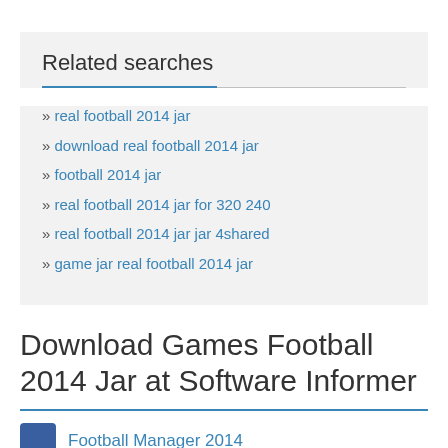Related searches
real football 2014 jar
download real football 2014 jar
football 2014 jar
real football 2014 jar for 320 240
real football 2014 jar jar 4shared
game jar real football 2014 jar
Download Games Football 2014 Jar at Software Informer
Football Manager 2014